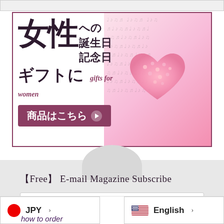[Figure (photo): Partial image strip at top of page (cropped)]
[Figure (infographic): Japanese gift advertisement banner with text: 女性への誕生日記念日ギフトに gifts for women 商品はこちら, and a heart-shaped flower arrangement on sheet music background]
【Free】 E-mail Magazine Subscribe
email address
TO REGISTER
JPY
English
how to order